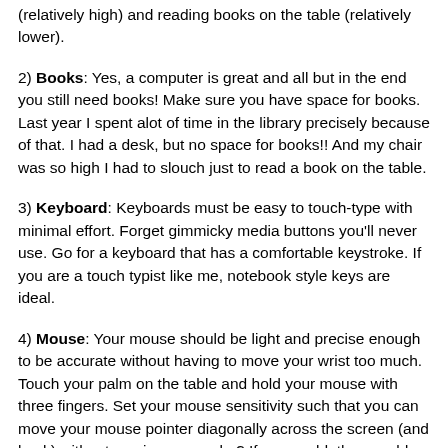(relatively high) and reading books on the table (relatively lower).
2) Books: Yes, a computer is great and all but in the end you still need books! Make sure you have space for books. Last year I spent alot of time in the library precisely because of that. I had a desk, but no space for books!! And my chair was so high I had to slouch just to read a book on the table.
3) Keyboard: Keyboards must be easy to touch-type with minimal effort. Forget gimmicky media buttons you'll never use. Go for a keyboard that has a comfortable keystroke. If you are a touch typist like me, notebook style keys are ideal.
4) Mouse: Your mouse should be light and precise enough to be accurate without having to move your wrist too much. Touch your palm on the table and hold your mouse with three fingers. Set your mouse sensitivity such that you can move your mouse pointer diagonally across the screen (and back) without moving your palm? If you could, then could you also perform daily tasks at that sensitivity? Some mice simply arent accurate enough at high sensitivities. Heavier